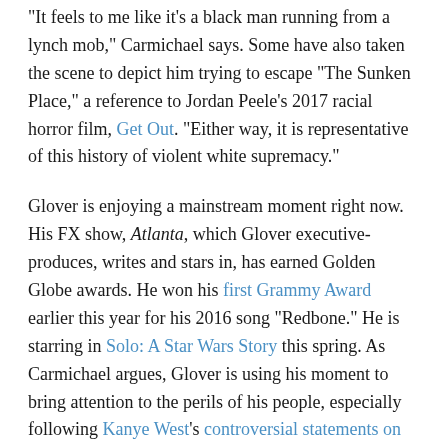"It feels to me like it's a black man running from a lynch mob," Carmichael says. Some have also taken the scene to depict him trying to escape "The Sunken Place," a reference to Jordan Peele's 2017 racial horror film, Get Out. "Either way, it is representative of this history of violent white supremacy."
Glover is enjoying a mainstream moment right now. His FX show, Atlanta, which Glover executive-produces, writes and stars in, has earned Golden Globe awards. He won his first Grammy Award earlier this year for his 2016 song "Redbone." He is starring in Solo: A Star Wars Story this spring. As Carmichael argues, Glover is using his moment to bring attention to the perils of his people, especially following Kanye West's controversial statements on slavery and public alignment with President Trump.